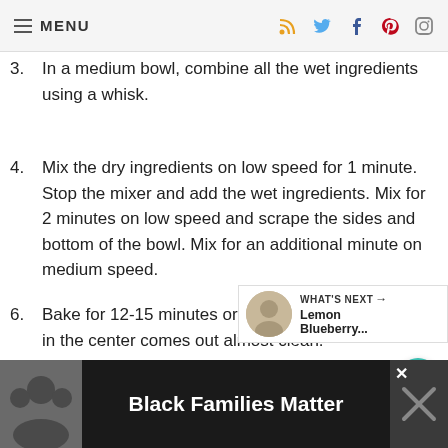≡ MENU
3. In a medium bowl, combine all the wet ingredients using a whisk.
4. Mix the dry ingredients on low speed for 1 minute. Stop the mixer and add the wet ingredients. Mix for 2 minutes on low speed and scrape the sides and bottom of the bowl. Mix for an additional minute on medium speed.
5. The batter will be thin. Divide evenly among the cupcake liners.
6. Bake for 12-15 minutes or until a toothp... inserted in the center comes out almost clean.
[Figure (other): Ad banner: Black Families Matter with image of family]
WHAT'S NEXT → Lemon Blueberry...